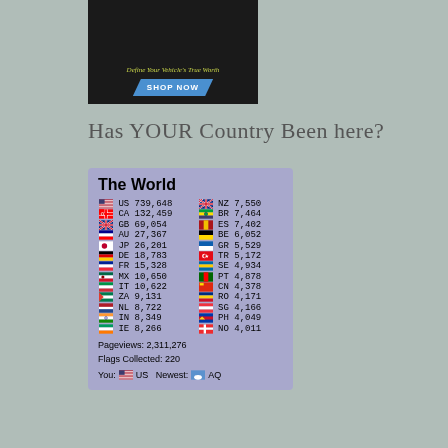[Figure (photo): Advertisement showing a black car wheel/rim with text 'SHOP NOW' button and italic green text about vehicle value]
Has YOUR Country Been here?
| Flag | Country | Visits | Flag | Country | Visits |
| --- | --- | --- | --- | --- | --- |
| US flag | US | 739,648 | NZ flag | NZ | 7,550 |
| CA flag | CA | 132,459 | BR flag | BR | 7,464 |
| GB flag | GB | 69,054 | ES flag | ES | 7,402 |
| AU flag | AU | 27,367 | BE flag | BE | 6,052 |
| JP flag | JP | 26,201 | GR flag | GR | 5,529 |
| DE flag | DE | 18,783 | TR flag | TR | 5,172 |
| FR flag | FR | 15,328 | SE flag | SE | 4,934 |
| MX flag | MX | 10,650 | PT flag | PT | 4,878 |
| IT flag | IT | 10,622 | CN flag | CN | 4,378 |
| ZA flag | ZA | 9,131 | RO flag | RO | 4,171 |
| NL flag | NL | 8,722 | SG flag | SG | 4,166 |
| IN flag | IN | 8,349 | PH flag | PH | 4,049 |
| IE flag | IE | 8,266 | NO flag | NO | 4,011 |